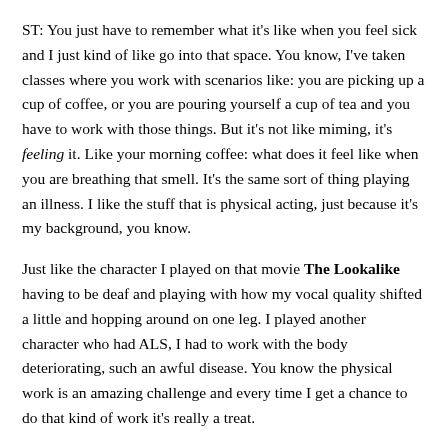ST: You just have to remember what it's like when you feel sick and I just kind of like go into that space. You know, I've taken classes where you work with scenarios like: you are picking up a cup of coffee, or you are pouring yourself a cup of tea and you have to work with those things. But it's not like miming, it's feeling it. Like your morning coffee: what does it feel like when you are breathing that smell. It's the same sort of thing playing an illness. I like the stuff that is physical acting, just because it's my background, you know.
Just like the character I played on that movie The Lookalike having to be deaf and playing with how my vocal quality shifted a little and hopping around on one leg. I played another character who had ALS, I had to work with the body deteriorating, such an awful disease. You know the physical work is an amazing challenge and every time I get a chance to do that kind of work it's really a treat.
PC: And what about crying? Can you cry on cue or is that almost always choreographed (for want of a better word) when an actor cries?